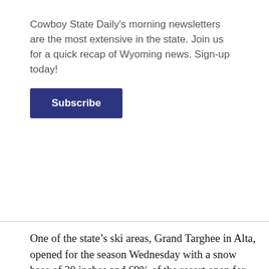Cowboy State Daily's morning newsletters are the most extensive in the state. Join us for a quick recap of Wyoming news. Sign-up today!
[Figure (other): Subscribe button — dark navy blue rectangular button with white bold text 'Subscribe']
One of the state’s ski areas, Grand Targhee in Alta, opened for the season Wednesday with a snow base of 30 inches and 69% of the resort open for skiing.
The Jackson Hole Mountain Resort planned to continue its long-standing tradition of opening for the season on Thanksgiving Day, although the terrain available for skiing would be limited, according to the ski area’s website.
“Mother Nature has been off to a slow start on the lower mountain, but with increased snowmaking capacity and a